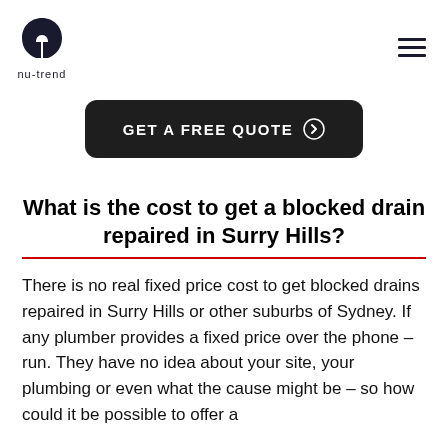nu-trend logo and hamburger menu
GET A FREE QUOTE ⊙
What is the cost to get a blocked drain repaired in Surry Hills?
There is no real fixed price cost to get blocked drains repaired in Surry Hills or other suburbs of Sydney. If any plumber provides a fixed price over the phone – run. They have no idea about your site, your plumbing or even what the cause might be – so how could it be possible to offer a